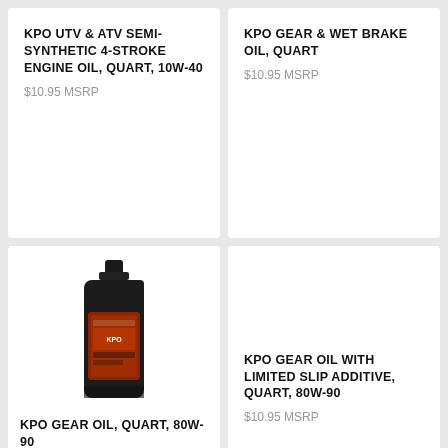KPO UTV & ATV SEMI-SYNTHETIC 4-STROKE ENGINE OIL, QUART, 10W-40
$10.95 MSRP
KPO GEAR & WET BRAKE OIL, QUART
$10.95 MSRP
[Figure (photo): Dark bottle of KPO Gear Oil, quart size, 80W-90]
KPO GEAR OIL, QUART, 80W-90
$10.95 MSRP
KPO GEAR OIL WITH LIMITED SLIP ADDITIVE, QUART, 80W-90
$10.95 MSRP
[Figure (photo): Silver bottle of KPO oil product, quart]
[Figure (photo): Silver/yellow bottle of KPO oil product, quart]